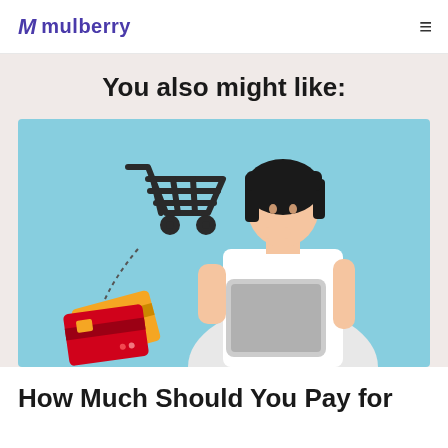M mulberry
You also might like:
[Figure (photo): Young Asian woman holding a tablet, looking upward thoughtfully, against a light blue background. Overlaid graphics show a shopping cart icon and credit card icons with dotted arrows, suggesting online shopping.]
How Much Should You Pay for